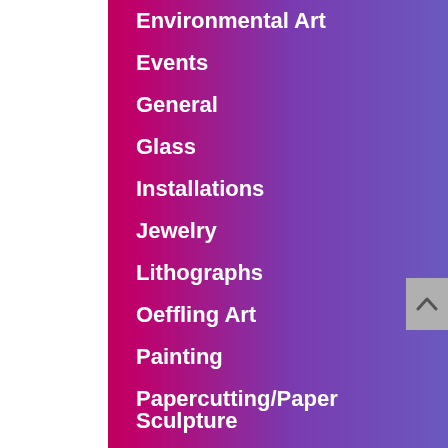Environmental Art
Events
General
Glass
Installations
Jewelry
Lithographs
Oeffling Art
Painting
Papercutting/Paper Sculpture
Photography/Film
Sculpture
Textile Art